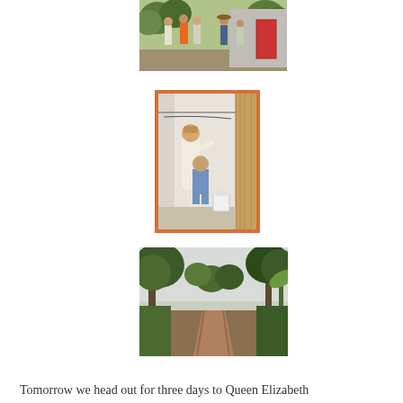[Figure (photo): Group of people standing outside a concrete building with a red door, surrounded by greenery. One person in an orange shirt is prominent.]
[Figure (photo): Two people inside a narrow unfinished room or tank interior — one standing, one crouching — with lumber and a white bucket visible.]
[Figure (photo): A dirt road flanked by large trees and lush green vegetation stretching into the distance under an overcast sky.]
Tomorrow we head out for three days to Queen Elizabeth